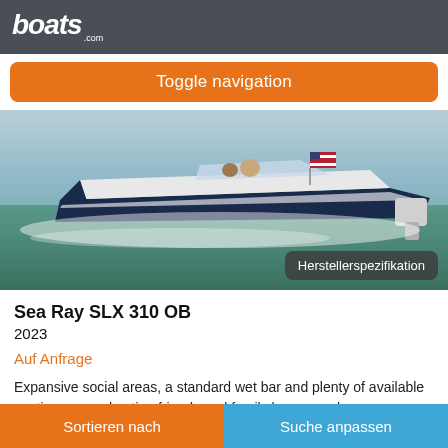boats.com
Toggle navigation
[Figure (photo): A Sea Ray SLX 310 OB motorboat speeding on water with an American flag, overlaid with badge text 'Herstellerspezifikation']
Sea Ray SLX 310 OB
2023
Auf Anfrage
Expansive social areas, a standard wet bar and plenty of available seating means hosting friends and family has never been more
Sortieren nach    Suche anpassen